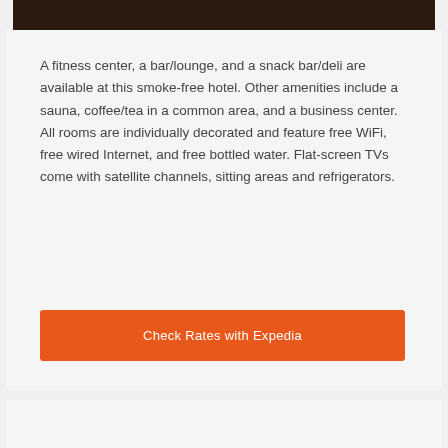[Figure (photo): Dark/brown toned photo strip at the top of the card, partially visible hotel interior]
A fitness center, a bar/lounge, and a snack bar/deli are available at this smoke-free hotel. Other amenities include a sauna, coffee/tea in a common area, and a business center. All rooms are individually decorated and feature free WiFi, free wired Internet, and free bottled water. Flat-screen TVs come with satellite channels, sitting areas and refrigerators.
Check Rates with Expedia